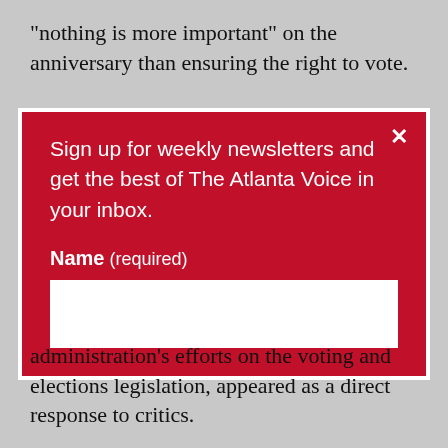“nothing is more important” on the anniversary than ensuring the right to vote.
[Figure (screenshot): Newsletter signup modal with red background from The Atlanta Voice. Contains a close button (×), promotional text, name field label, and white input box.]
administration’s efforts on the voting and elections legislation, appeared as a direct response to critics.